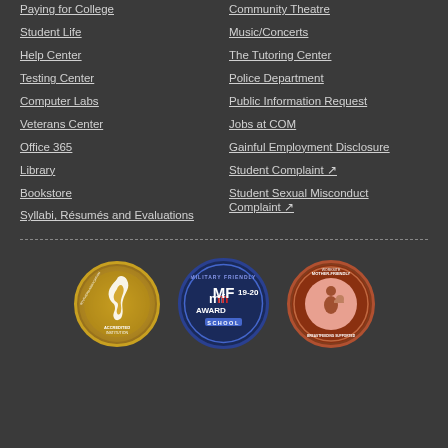Paying for College
Student Life
Help Center
Testing Center
Computer Labs
Veterans Center
Office 365
Library
Bookstore
Syllabi, Résumés and Evaluations
Community Theatre
Music/Concerts
The Tutoring Center
Police Department
Public Information Request
Jobs at COM
Gainful Employment Disclosure
Student Complaint ↗
Student Sexual Misconduct Complaint ↗
[Figure (logo): Accredited Institution badge - Southern Association of Colleges and Universities]
[Figure (logo): Military Friendly MF 19-20 Award School badge]
[Figure (logo): Mother-Friendly Worksite Breastfeeding Supported badge]